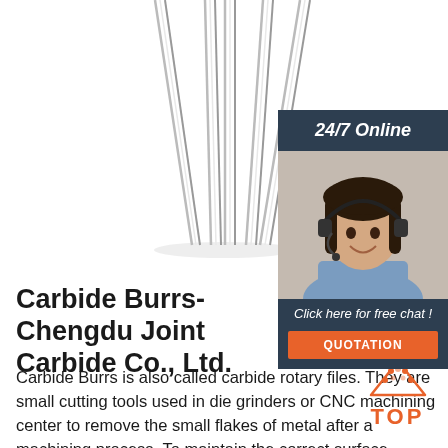[Figure (photo): Three elongated carbide rod/burr tools with pointed tips converging downward, metallic silver color on white background]
[Figure (photo): 24/7 Online customer service panel with dark blue header reading '24/7 Online', a photo of a smiling woman with headset, text 'Click here for free chat!' and an orange QUOTATION button]
Carbide Burrs-Chengdu Joint Carbide Co., Ltd.
Carbide Burrs is also called carbide rotary files. They are small cutting tools used in die grinders or CNC machining center to remove the small flakes of metal after a machining process. To maintain the correct surface speed and cutting conditions,
[Figure (illustration): Orange TOP icon with dotted triangle/arrow pointing up above the word TOP in orange bold text]